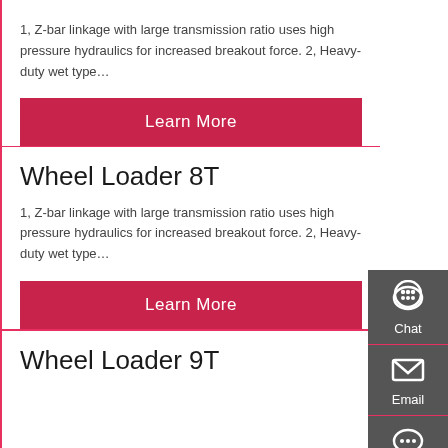1, Z-bar linkage with large transmission ratio uses high pressure hydraulics for increased breakout force. 2, Heavy-duty wet type…
Learn More
Wheel Loader 8T
1, Z-bar linkage with large transmission ratio uses high pressure hydraulics for increased breakout force. 2, Heavy-duty wet type…
Learn More
Wheel Loader 9T